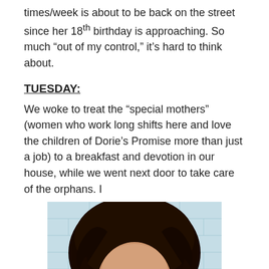times/week is about to be back on the street since her 18th birthday is approaching. So much “out of my control,” it’s hard to think about.
TUESDAY:
We woke to treat the “special mothers” (women who work long shifts here and love the children of Dorie’s Promise more than just a job) to a breakfast and devotion in our house, while we went next door to take care of the orphans. I
[Figure (photo): A young child with dark curly hair leaning against a light blue brick wall, face resting on their hand, eyes closed or downcast.]